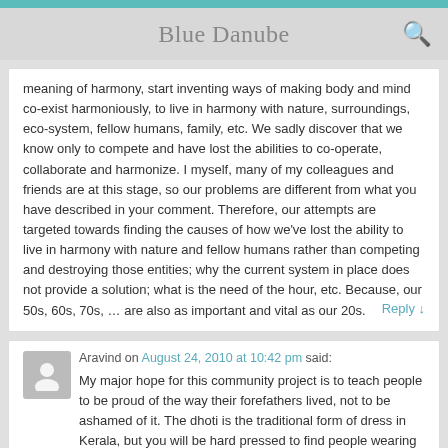Blue Danube
meaning of harmony, start inventing ways of making body and mind co-exist harmoniously, to live in harmony with nature, surroundings, eco-system, fellow humans, family, etc. We sadly discover that we know only to compete and have lost the abilities to co-operate, collaborate and harmonize. I myself, many of my colleagues and friends are at this stage, so our problems are different from what you have described in your comment. Therefore, our attempts are targeted towards finding the causes of how we've lost the ability to live in harmony with nature and fellow humans rather than competing and destroying those entities; why the current system in place does not provide a solution; what is the need of the hour, etc. Because, our 50s, 60s, 70s, … are also as important and vital as our 20s.
Aravind on August 24, 2010 at 10:42 pm said:
My major hope for this community project is to teach people to be proud of the way their forefathers lived, not to be ashamed of it. The dhoti is the traditional form of dress in Kerala, but you will be hard pressed to find people wearing it, especially in the IT industry. When I ask why, I don't get a clear reply. So I hope that we can show that you can live simply and traditionally, learning all the good things from the West, and rejecting all the bad.
I just felt like adding something to this. I do work in an IT company